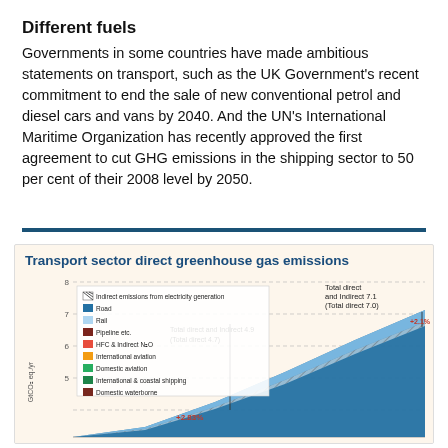Different fuels
Governments in some countries have made ambitious statements on transport, such as the UK Government's recent commitment to end the sale of new conventional petrol and diesel cars and vans by 2040. And the UN's International Maritime Organization has recently approved the first agreement to cut GHG emissions in the shipping sector to 50 per cent of their 2008 level by 2050.
[Figure (area-chart): Stacked area chart showing transport sector direct greenhouse gas emissions over time with multiple categories including road, rail, pipeline, HFC, aviation, shipping, and indirect emissions from electricity. Labels indicate Total direct and indirect 4.9 (Total direct 4.7) and Total direct and indirect 7.1 (Total direct 7.0) at two time points, with +2.83% and +2.1% annotations.]